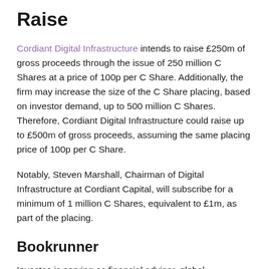Raise
Cordiant Digital Infrastructure intends to raise £250m of gross proceeds through the issue of 250 million C Shares at a price of 100p per C Share. Additionally, the firm may increase the size of the C Share placing, based on investor demand, up to 500 million C Shares. Therefore, Cordiant Digital Infrastructure could raise up to £500m of gross proceeds, assuming the same placing price of 100p per C Share.
Notably, Steven Marshall, Chairman of Digital Infrastructure at Cordiant Capital, will subscribe for a minimum of 1 million C Shares, equivalent to £1m, as part of the placing.
Bookrunner
Investec is serving as financial advisor, global coordinator, and sole bookrunner to Cordiant Digital Infrastructure for the C